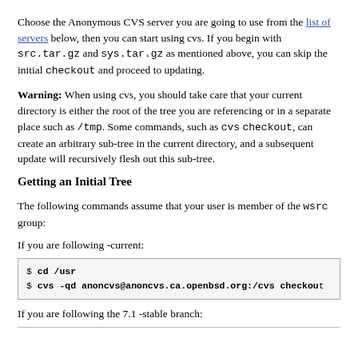Choose the Anonymous CVS server you are going to use from the list of servers below, then you can start using cvs. If you begin with src.tar.gz and sys.tar.gz as mentioned above, you can skip the initial checkout and proceed to updating.
Warning: When using cvs, you should take care that your current directory is either the root of the tree you are referencing or in a separate place such as /tmp. Some commands, such as cvs checkout, can create an arbitrary sub-tree in the current directory, and a subsequent update will recursively flesh out this sub-tree.
Getting an Initial Tree
The following commands assume that your user is member of the wsrc group:
If you are following -current:
[Figure (screenshot): Code box with two command lines: '$ cd /usr' and '$ cvs -qd anoncvs@anoncvs.ca.openbsd.org:/cvs checkout']
If you are following the 7.1 -stable branch: